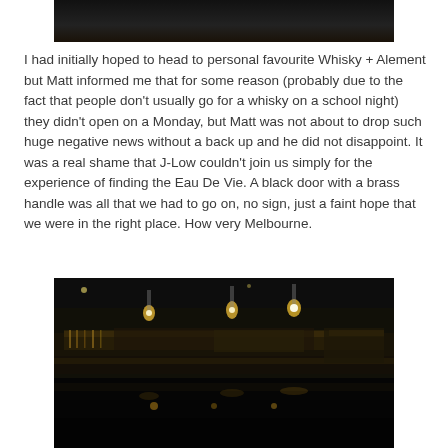[Figure (photo): Dark interior photo cropped at top of page, partial view visible]
I had initially hoped to head to personal favourite Whisky + Alement but Matt informed me that for some reason (probably due to the fact that people don't usually go for a whisky on a school night) they didn't open on a Monday, but Matt was not about to drop such huge negative news without a back up and he did not disappoint. It was a real shame that J-Low couldn't join us simply for the experience of finding the Eau De Vie. A black door with a brass handle was all that we had to go on, no sign, just a faint hope that we were in the right place. How very Melbourne.
[Figure (photo): Dark bar interior photograph showing shelves of bottles backlit with warm golden light, pendant lamps hanging above the bar, bottles lined up on multiple shelves]